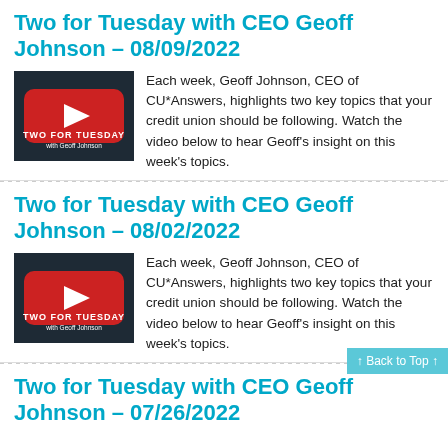Two for Tuesday with CEO Geoff Johnson – 08/09/2022
[Figure (logo): Two for Tuesday with Geoff Johnson logo — red rounded rectangle with white play button triangle and text 'TWO FOR TUESDAY with Geoff Johnson' on dark background]
Each week, Geoff Johnson, CEO of CU*Answers, highlights two key topics that your credit union should be following.  Watch the video below to hear Geoff's insight on this week's topics.
Two for Tuesday with CEO Geoff Johnson – 08/02/2022
[Figure (logo): Two for Tuesday with Geoff Johnson logo — red rounded rectangle with white play button triangle and text 'TWO FOR TUESDAY with Geoff Johnson' on dark background]
Each week, Geoff Johnson, CEO of CU*Answers, highlights two key topics that your credit union should be following.  Watch the video below to hear Geoff's insight on this week's topics.
Two for Tuesday with CEO Geoff Johnson – 07/26/2022